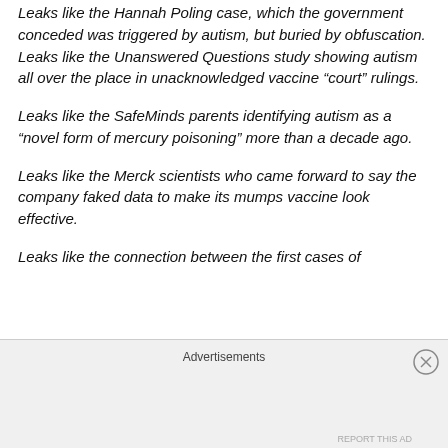Leaks like the Hannah Poling case, which the government conceded was triggered by autism, but buried by obfuscation. Leaks like the Unanswered Questions study showing autism all over the place in unacknowledged vaccine “court” rulings.
Leaks like the SafeMinds parents identifying autism as a “novel form of mercury poisoning” more than a decade ago.
Leaks like the Merck scientists who came forward to say the company faked data to make its mumps vaccine look effective.
Leaks like the connection between the first cases of
Advertisements